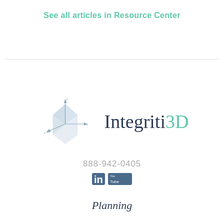See all articles in Resource Center
[Figure (logo): Integriti3D company logo with 3D axis graphic and brand name]
888-942-0405
[Figure (other): LinkedIn and YouTube social media icons]
Planning